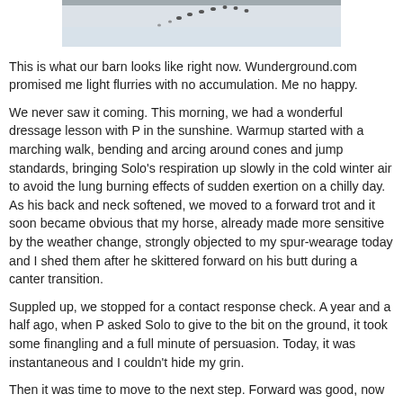[Figure (photo): A snowy outdoor scene showing animal tracks (likely bird or small animal footprints) in the snow, with a barn or building partially visible in the background.]
This is what our barn looks like right now. Wunderground.com promised me light flurries with no accumulation. Me no happy.
We never saw it coming. This morning, we had a wonderful dressage lesson with P in the sunshine. Warmup started with a marching walk, bending and arcing around cones and jump standards, bringing Solo's respiration up slowly in the cold winter air to avoid the lung burning effects of sudden exertion on a chilly day. As his back and neck softened, we moved to a forward trot and it soon became obvious that my horse, already made more sensitive by the weather change, strongly objected to my spur-wearage today and I shed them after he skittered forward on his butt during a canter transition.
Suppled up, we stopped for a contact response check. A year and a half ago, when P asked Solo to give to the bit on the ground, it took some finangling and a full minute of persuasion. Today, it was instantaneous and I couldn't hide my grin.
Then it was time to move to the next step. Forward was good, now we needed to be clear that half-halt meant half-halt NOW, not half-halt in five strides after you express your own opinion and we argue about it. So we worked transitions within the trot --